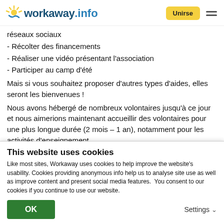workaway.info | Unirse
réseaux sociaux
- Récolter des financements
- Réaliser une vidéo présentant l'association
- Participer au camp d'été
Mais si vous souhaitez proposer d'autres types d'aides, elles seront les bienvenues !
Nous avons hébergé de nombreux volontaires jusqu'à ce jour et nous aimerions maintenant accueillir des volontaires pour une plus longue durée (2 mois – 1 an), notamment pour les activités d'enseignement.
N'hésitez pas à nous contacter pour en discuter !
This website uses cookies
Like most sites, Workaway uses cookies to help improve the website's usability. Cookies providing anonymous info help us to analyse site use as well as improve content and present social media features.  You consent to our cookies if you continue to use our website.
OK | Settings